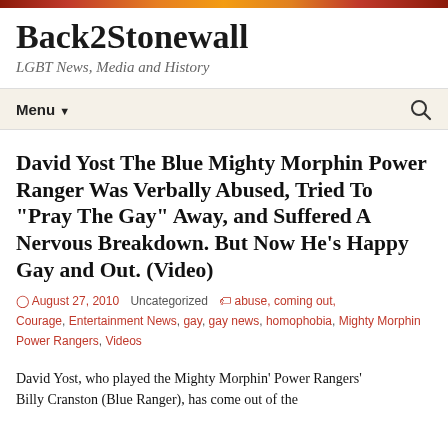Back2Stonewall
LGBT News, Media and History
Menu
David Yost The Blue Mighty Morphin Power Ranger Was Verbally Abused, Tried To "Pray The Gay" Away, and Suffered A Nervous Breakdown. But Now He's Happy Gay and Out. (Video)
August 27, 2010   Uncategorized   abuse, coming out, Courage, Entertainment News, gay, gay news, homophobia, Mighty Morphin Power Rangers, Videos
David Yost, who played the Mighty Morphin' Power Rangers' Billy Cranston (Blue Ranger), has come out of the